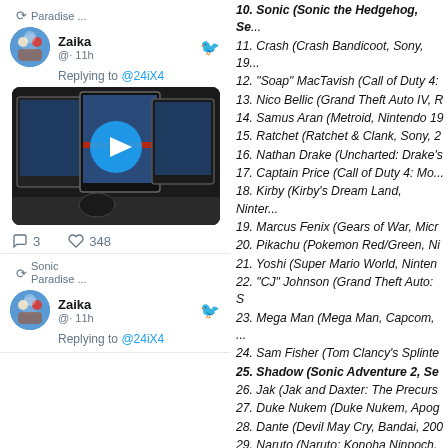Paradise ...
Zaika · 11h
Replying to @24iX4
[Figure (screenshot): Video thumbnail showing multiple computer monitors, with a blue play button circle in the center.]
3 replies, 348 likes
Sonic Paradise ...
Zaika · 11h
Replying to @24iX4
10. Sonic (Sonic the Hedgehog, Se...
11. Crash (Crash Bandicoot, Sony, 19...
12. "Soap" MacTavish (Call of Duty 4:...
13. Nico Bellic (Grand Theft Auto IV, R...
14. Samus Aran (Metroid, Nintendo 19...
15. Ratchet (Ratchet & Clank, Sony, 2...
16. Nathan Drake (Uncharted: Drake's...
17. Captain Price (Call of Duty 4: Mo...
18. Kirby (Kirby's Dream Land, Ninter...
19. Marcus Fenix (Gears of War, Micr...
20. Pikachu (Pokemon Red/Green, Ni...
21. Yoshi (Super Mario World, Ninten...
22. "CJ" Johnson (Grand Theft Auto: S...
23. Mega Man (Mega Man, Capcom,...
24. Sam Fisher (Tom Clancy's Splinte...
25. Shadow (Sonic Adventure 2, Se...
26. Jak (Jak and Daxter: The Precurs...
27. Duke Nukem (Duke Nukem, Apog...
28. Dante (Devil May Cry, Bandai, 200...
29. Naruto (Naruto: Konoha Ninpoch,...
30. Altair (Assassin's Creed, Ubisoft,...
31. Zelda (The Legend of Zelda, Ninte...